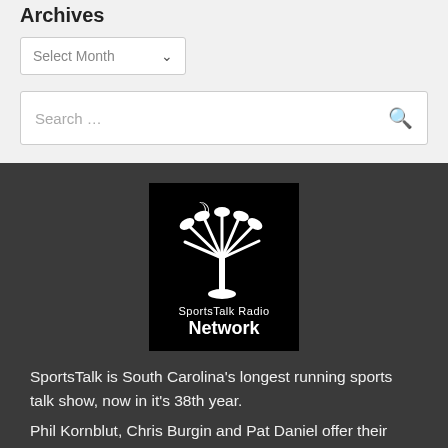Archives
Select Month
Search …
[Figure (logo): SportsTalk Radio Network logo: black square with white palmetto tree and crescent moon, text 'SportsTalk Radio Network']
SportsTalk is South Carolina's longest running sports talk show, now in it's 38th year.
Phil Kornblut, Chris Burgin and Pat Daniel offer their opinions